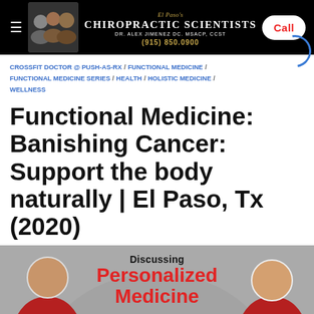El Paso's Chiropractic Scientists Dr. Alex Jimenez DC. MSACP, CCST (915) 850.0900 Call
CROSSFIT DOCTOR @ PUSH-AS-RX / FUNCTIONAL MEDICINE / FUNCTIONAL MEDICINE SERIES / HEALTH / HOLISTIC MEDICINE / WELLNESS
Functional Medicine: Banishing Cancer: Support the body naturally | El Paso, Tx (2020)
[Figure (photo): Two people shown with text overlay 'Discussing Personalized Medicine' on a grey background with red circular graphic elements]